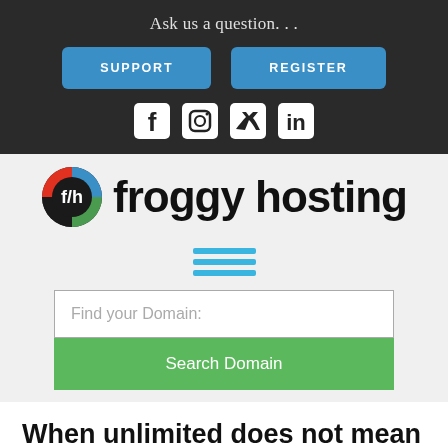Ask us a question. . .
SUPPORT
REGISTER
[Figure (infographic): Social media icons: Facebook, Instagram, Twitter, LinkedIn]
[Figure (logo): Froggy Hosting logo with circular f/h icon and bold text 'froggy hosting']
[Figure (infographic): Hamburger menu icon with three horizontal blue lines]
Find your Domain:
Search Domain
When unlimited does not mean “unlimited”.
[Figure (photo): Dark image strip at bottom of page]